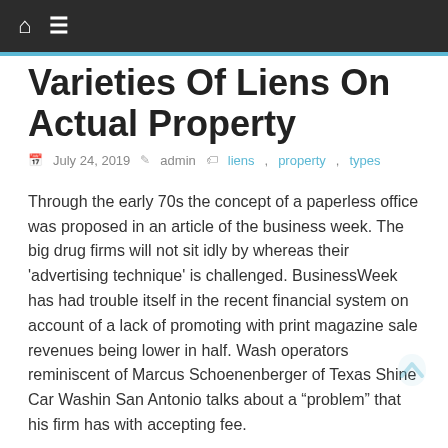Varieties Of Liens On Actual Property
Varieties Of Liens On Actual Property
July 24, 2019   admin   liens, property, types
Through the early 70s the concept of a paperless office was proposed in an article of the business week. The big drug firms will not sit idly by whereas their ‘advertising technique’ is challenged. BusinessWeek has had trouble itself in the recent financial system on account of a lack of promoting with print magazine sale revenues being lower in half. Wash operators reminiscent of Marcus Schoenenberger of Texas Shine Car Washin San Antonio talks about a “problem” that his firm has with accepting fee.
Foreign exchange is not really a 24 hour market, it only appears that way because the time zones imply that it is